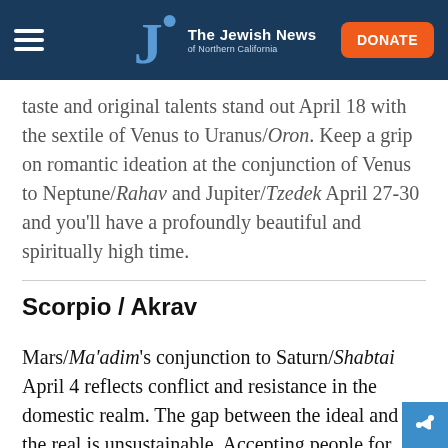The Jewish News of Northern California
…taste and original talents stand out April 18 with the sextile of Venus to Uranus/Oron. Keep a grip on romantic ideation at the conjunction of Venus to Neptune/Rahav and Jupiter/Tzedek April 27-30 and you'll have a profoundly beautiful and spiritually high time.
Scorpio / Akrav
Mars/Ma'adim's conjunction to Saturn/Shabtai April 4 reflects conflict and resistance in the domestic realm. The gap between the ideal and the real is unsustainable. Accepting people for who